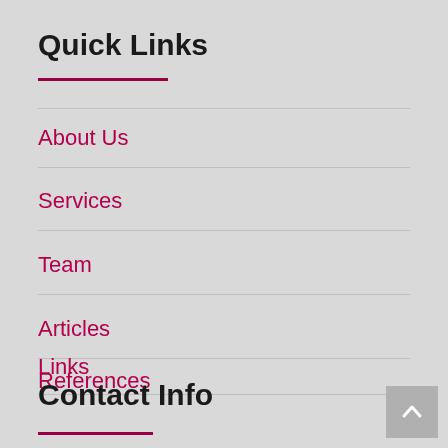Quick Links
About Us
Services
Team
Articles
Links
References
Contact Info